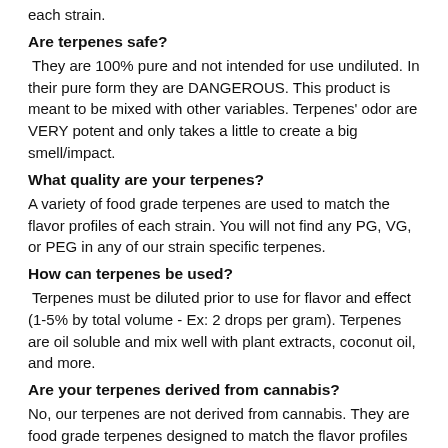each strain.
Are terpenes safe?
They are 100% pure and not intended for use undiluted. In their pure form they are DANGEROUS. This product is meant to be mixed with other variables. Terpenes' odor are VERY potent and only takes a little to create a big smell/impact.
What quality are your terpenes?
A variety of food grade terpenes are used to match the flavor profiles of each strain. You will not find any PG, VG, or PEG in any of our strain specific terpenes.
How can terpenes be used?
Terpenes must be diluted prior to use for flavor and effect (1-5% by total volume - Ex: 2 drops per gram). Terpenes are oil soluble and mix well with plant extracts, coconut oil, and more.
Are your terpenes derived from cannabis?
No, our terpenes are not derived from cannabis. They are food grade terpenes designed to match the flavor profiles of specific strains of cannabis. Our terpenes contain no THC.
Are terpenes legal to purchase?
Our blends are pure terpenes – due to production methods we strictly ensure that there are no cannabinoids present, so our products are able to be shipped across the nation, and internationally.